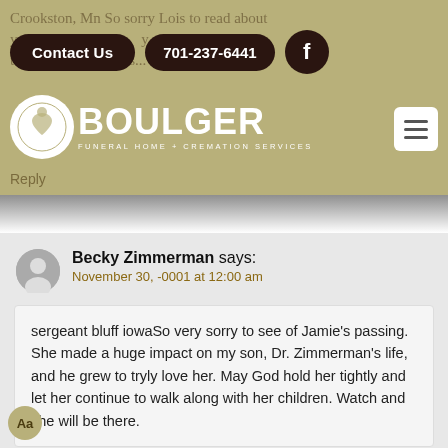[Figure (screenshot): Boulger Funeral Home & Cremation Services website header with navigation buttons 'Contact Us' and '701-237-6441', a Facebook icon, the Boulger logo with a circular emblem, and a hamburger menu icon on a tan/olive background. Faded text reads: 'Crookston, Mn So sorry Lois to read about y... assi... y thoughts and prayers...' and 'Reply' at bottom.]
Becky Zimmerman says:
November 30, -0001 at 12:00 am
sergeant bluff iowaSo very sorry to see of Jamie's passing. She made a huge impact on my son, Dr. Zimmerman's life, and he grew to tryly love her. May God hold her tightly and let her continue to walk along with her children. Watch and she will be there.